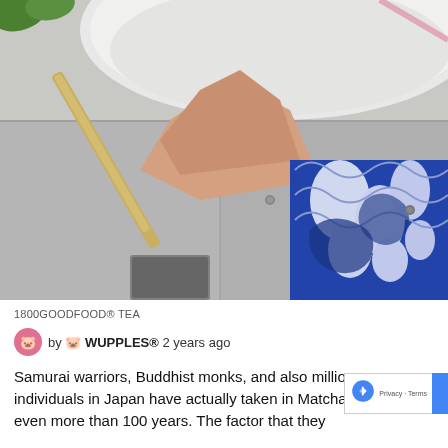[Figure (photo): Close-up photograph showing a person holding what appears to be a matcha whisk or similar implement against a ceramic bowl surface, with blue and white decorative fabric visible in the background, shot from above on a gray surface with a small rectangular object visible at bottom left.]
1800GOODFOOD® TEA
by 🐷 WUPPLES® 2 years ago
Samurai warriors, Buddhist monks, and also million individuals in Japan have actually taken in Matcha tea for even more than 100 years. The factor that they